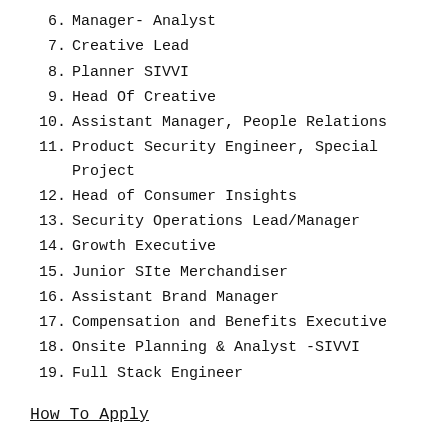6. Manager- Analyst
7. Creative Lead
8. Planner SIVVI
9. Head Of Creative
10. Assistant Manager, People Relations
11. Product Security Engineer, Special Project
12. Head of Consumer Insights
13. Security Operations Lead/Manager
14. Growth Executive
15. Junior SIte Merchandiser
16. Assistant Brand Manager
17. Compensation and Benefits Executive
18. Onsite Planning & Analyst -SIVVI
19. Full Stack Engineer
How To Apply